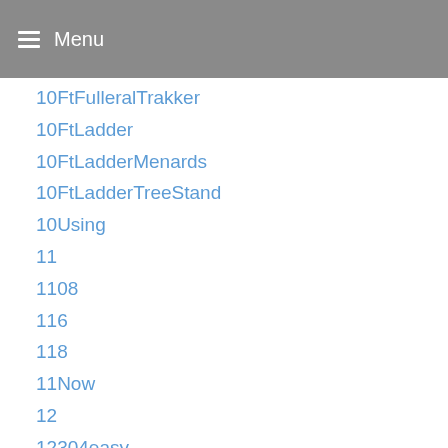Menu
10FtFulleralTrakker
10FtLadder
10FtLadderMenards
10FtLadderTreeStand
10Using
11
1108
116
118
11Now
12
12304easy
12304food
12304precise
12FeetDeep
12FootLadderLowes
12GoalsForTheNewYear